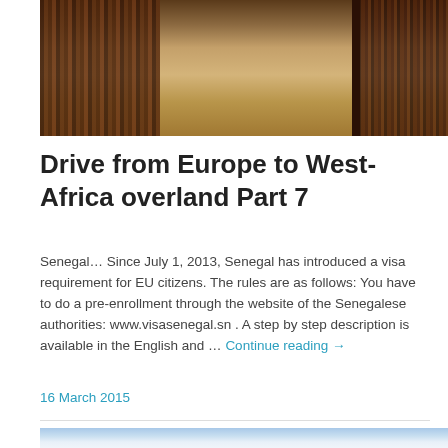[Figure (photo): Outdoor scene with sandy ground and wooden fence/barrier structures on left and right sides, pathway in the middle]
Drive from Europe to West-Africa overland Part 7
Senegal… Since July 1, 2013, Senegal has introduced a visa requirement for EU citizens. The rules are as follows: You have to do a pre-enrollment through the website of the Senegalese authorities: www.visasenegal.sn . A step by step description is available in the English and … Continue reading →
16 March 2015
[Figure (photo): Outdoor sky scene with blue sky and clouds, partial view at bottom of page]